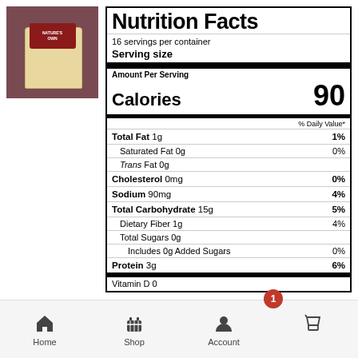[Figure (photo): Product photo of a bread package on reddish-brown background]
| Nutrient | Amount | % Daily Value |
| --- | --- | --- |
| 16 servings per container |  |  |
| Serving size |  |  |
| Amount Per Serving |  |  |
| Calories | 90 |  |
| % Daily Value* |  |  |
| Total Fat 1g |  | 1% |
| Saturated Fat 0g |  | 0% |
| Trans Fat 0g |  |  |
| Cholesterol 0mg |  | 0% |
| Sodium 90mg |  | 4% |
| Total Carbohydrate 15g |  | 5% |
| Dietary Fiber 1g |  | 4% |
| Total Sugars 0g |  |  |
| Includes 0g Added Sugars |  | 0% |
| Protein 3g |  | 6% |
[Figure (screenshot): Mobile app navigation bar with Home, Shop, Account, and Cart icons. Cart has a red badge showing 1.]